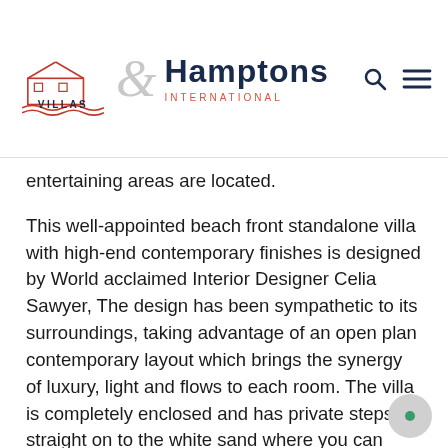Island Villas & Hamptons International
entertaining areas are located.
This well-appointed beach front standalone villa with high-end contemporary finishes is designed by World acclaimed Interior Designer Celia Sawyer, The design has been sympathetic to its surroundings, taking advantage of an open plan contemporary layout which brings the synergy of luxury, light and flows to each room. The villa is completely enclosed and has private steps straight on to the white sand where you can walk down to the turquoise water, perfect for both snorkelling and swimming.
The private dining terrace, spa pool and bar sets a beautiful scene for, al fresco dining, cocktails and celebrations with friends and family. Celebrities often